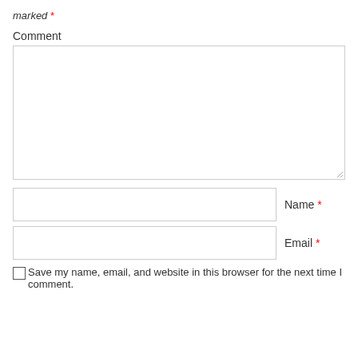marked *
Comment
[Figure (other): Large empty comment textarea with resize handle at bottom right]
Name *
[Figure (other): Name input field]
Email *
[Figure (other): Email input field]
Save my name, email, and website in this browser for the next time I comment.